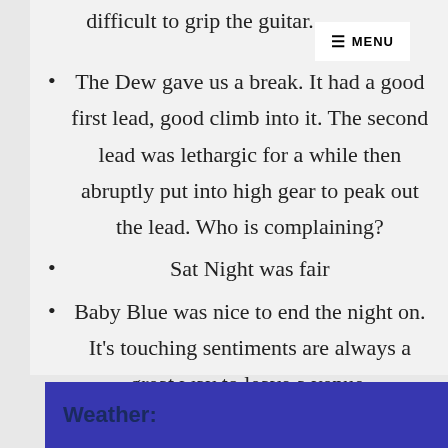difficult to grip the guitar.
The Dew gave us a break. It had a good first lead, good climb into it. The second lead was lethargic for a while then abruptly put into high gear to peak out the lead. Who is complaining?
Sat Night was fair
Baby Blue was nice to end the night on. It's touching sentiments are always a great way to leave a venue.
Weather: